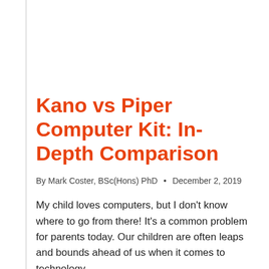Kano vs Piper Computer Kit: In-Depth Comparison
By Mark Coster, BSc(Hons) PhD • December 2, 2019
My child loves computers, but I don't know where to go from there! It's a common problem for parents today. Our children are often leaps and bounds ahead of us when it comes to technology....